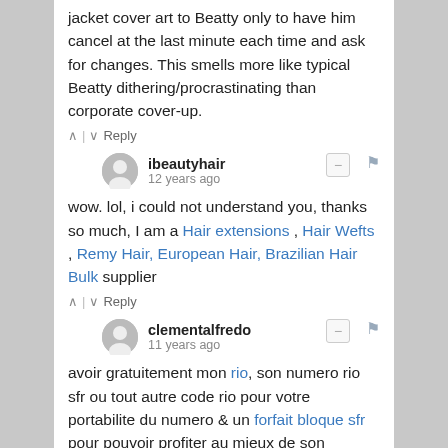jacket cover art to Beatty only to have him cancel at the last minute each time and ask for changes. This smells more like typical Beatty dithering/procrastinating than corporate cover-up.
∧ | ∨  Reply
ibeautyhair
12 years ago
wow. lol, i could not understand you, thanks so much, I am a Hair extensions , Hair Wefts , Remy Hair, European Hair, Brazilian Hair Bulk supplier
∧ | ∨  Reply
clementalfredo
11 years ago
avoir gratuitement mon rio, son numero rio sfr ou tout autre code rio pour votre portabilite du numero & un forfait bloque sfr pour pouvoir profiter au mieux de son portable.
∧ | ∨  Reply
Shiloh C